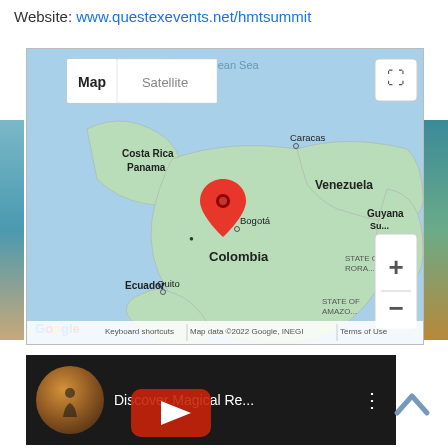Website: www.questexevents.net/hmtsummit
[Figure (map): Google Map showing Colombia and surrounding countries including Venezuela, Ecuador, Panama, Costa Rica. A red location pin is placed near Medellín/Bogotá area. Map/Satellite toggle buttons and zoom controls visible. Footer shows 'Keyboard shortcuts | Map data ©2022 Google, INEGI | Terms of Use'.]
[Figure (screenshot): YouTube video thumbnail showing 'Discover Magical Re...' with a round thumbnail image and a YouTube play button overlay.]